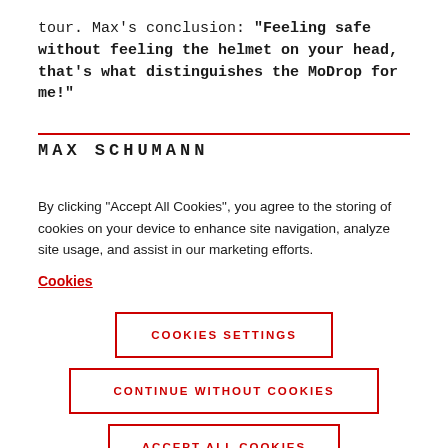tour. Max's conclusion: "Feeling safe without feeling the helmet on your head, that's what distinguishes the MoDrop for me!"
MAX SCHUMANN
By clicking “Accept All Cookies”, you agree to the storing of cookies on your device to enhance site navigation, analyze site usage, and assist in our marketing efforts.
Cookies
COOKIES SETTINGS
CONTINUE WITHOUT COOKIES
ACCEPT ALL COOKIES